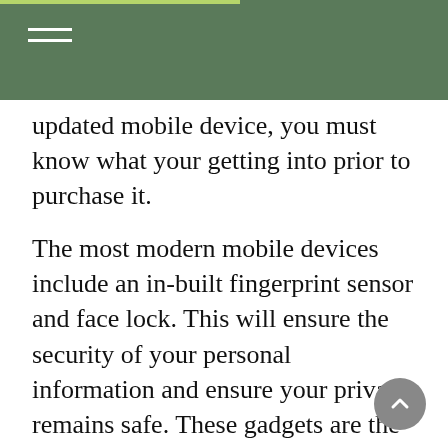updated mobile device, you must know what your getting into prior to purchase it.
The most modern mobile devices include an in-built fingerprint sensor and face lock. This will ensure the security of your personal information and ensure your privacy remains safe. These gadgets are the most vital element of your life, making sure it’s secure and secure. Smartphones can be lifesaving if you’re in a position to not use your hands or if you have eyesight that isn’t great. If you’re a professional you need to be protected from fake or uncertified medical devices.